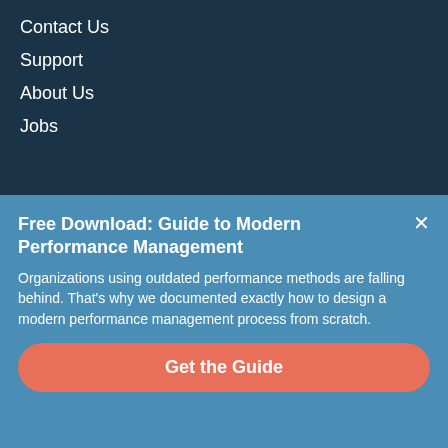Contact Us
Support
About Us
Jobs
Free Download: Guide to Modern Performance Management
Organizations using outdated performance methods are falling behind. That's why we documented exactly how to design a modern performance management process from scratch.
Get the Guide